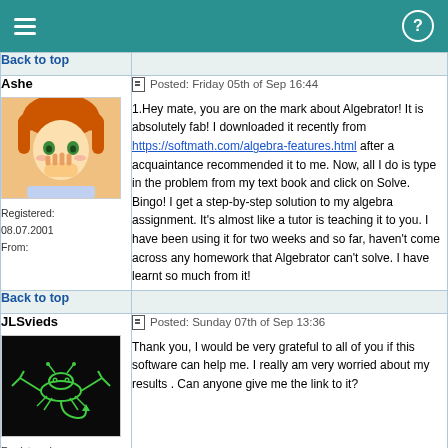≡  ?
Back to top
Ashe
Registered: 08.07.2001
From:
Posted: Friday 05th of Sep 16:44

1.Hey mate, you are on the mark about Algebrator! It is absolutely fab! I downloaded it recently from https://softmath.com/algebra-features.html after a acquaintance recommended it to me. Now, all I do is type in the problem from my text book and click on Solve. Bingo! I get a step-by-step solution to my algebra assignment. It's almost like a tutor is teaching it to you. I have been using it for two weeks and so far, haven't come across any homework that Algebrator can't solve. I have learnt so much from it!
Back to top
JLSvieds
Registered: 14.04.2004
From:
Posted: Sunday 07th of Sep 13:36

Thank you, I would be very grateful to all of you if this software can help me. I really am very worried about my results . Can anyone give me the link to it?